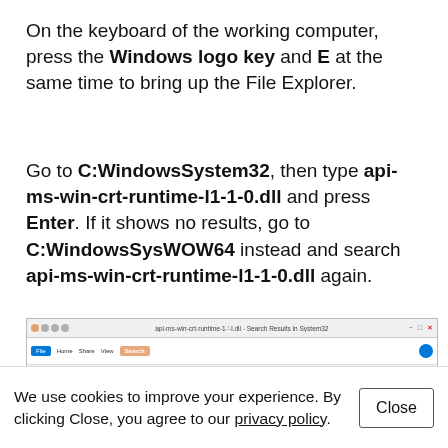On the keyboard of the working computer, press the Windows logo key and E at the same time to bring up the File Explorer.
Go to C:WindowsSystem32, then type api-ms-win-crt-runtime-l1-1-0.dll and press Enter. If it shows no results, go to C:WindowsSysWOW64 instead and search api-ms-win-crt-runtime-l1-1-0.dll again.
[Figure (screenshot): Screenshot of Windows File Explorer showing search results for api-ms-win-crt-runtime-l1-1-0.dll in System32, with ribbon tabs including File, Home, Share, View, and Search (highlighted in orange).]
We use cookies to improve your experience. By clicking Close, you agree to our privacy policy.